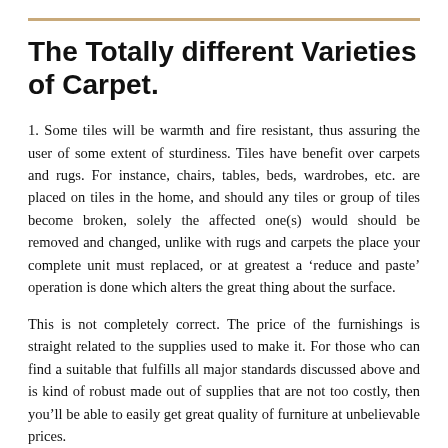The Totally different Varieties of Carpet.
1. Some tiles will be warmth and fire resistant, thus assuring the user of some extent of sturdiness. Tiles have benefit over carpets and rugs. For instance, chairs, tables, beds, wardrobes, etc. are placed on tiles in the home, and should any tiles or group of tiles become broken, solely the affected one(s) would should be removed and changed, unlike with rugs and carpets the place your complete unit must replaced, or at greatest a ‘reduce and paste’ operation is done which alters the great thing about the surface.
This is not completely correct. The price of the furnishings is straight related to the supplies used to make it. For those who can find a suitable that fulfills all major standards discussed above and is kind of robust made out of supplies that are not too costly, then you’ll be able to easily get great quality of furniture at unbelievable prices.